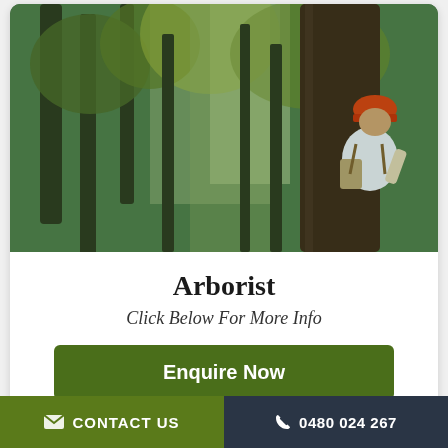[Figure (photo): An arborist wearing an orange hard hat and white shirt viewed from behind, inspecting a large tree trunk in a green forest setting]
Arborist
Click Below For More Info
Enquire Now
[Figure (photo): Partial view of a second card showing blurred winter trees with bare branches]
CONTACT US   0480 024 267